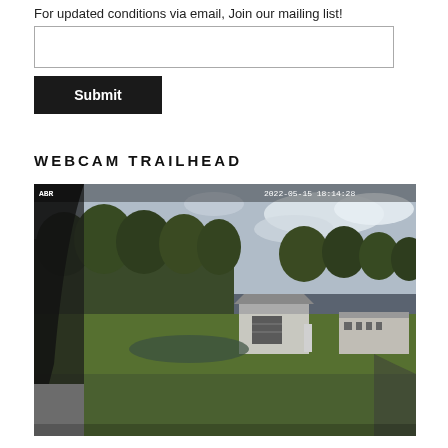For updated conditions via email, Join our mailing list!
[Figure (other): Email input text box (empty)]
[Figure (other): Submit button (dark/black background, white bold text 'Submit')]
WEBCAM TRAILHEAD
[Figure (photo): Webcam photo of a trailhead area showing a green grassy field, trees in background, two small buildings (garage and outbuilding), cloudy sky. Timestamp overlay: ABR and 2022-05-15 18:14:28]